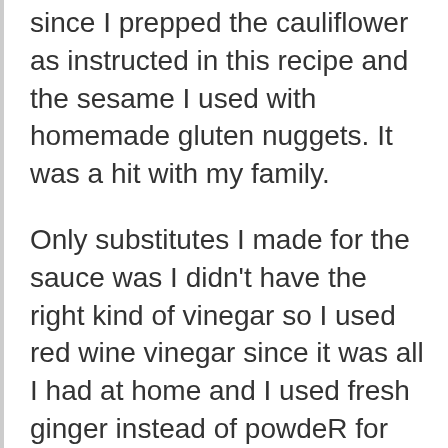since I prepped the cauliflower as instructed in this recipe and the sesame I used with homemade gluten nuggets. It was a hit with my family.
Only substitutes I made for the sauce was I didn't have the right kind of vinegar so I used red wine vinegar since it was all I had at home and I used fresh ginger instead of powdeR for the same reasons.
I did find I should have used more crumbs on the cauliflower and I noticed that a lot of cauliflower disintegrated when I mixed it woth lemon sauce, I think this was because of how little sauce was created. Next time I'll go 5x the recipe for sauce. Since I had already doubled the cauliflower I would need to double sauce